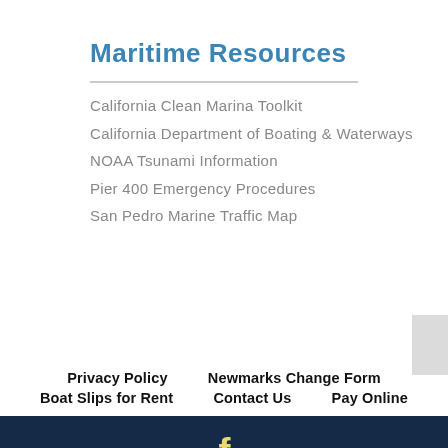Maritime Resources
California Clean Marina Toolkit
California Department of Boating & Waterways
NOAA Tsunami Information
Pier 400 Emergency Procedures
San Pedro Marine Traffic Map
Privacy Policy   Newmarks Change Form   Boat Slips for Rent   Contact Us   Pay Online
Copyright 2020 All Rights Reserved Newmarks Yacht Centre.
Website Developed by Port Town Websites